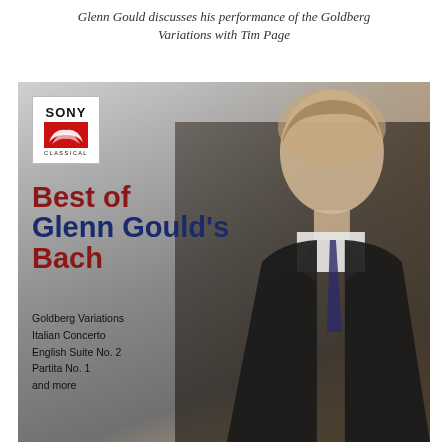Glenn Gould discusses his performance of the Goldberg Variations with Tim Page
[Figure (photo): Album cover for 'Best of Glenn Gould's Bach' on Sony Classical. Features a black-and-white photograph of a young Glenn Gould in a dark suit and tie, looking downward. The cover shows the Sony Classical logo in the top left, the title 'Best of Glenn Gould's Bach' in large red and navy text, and a track listing: Goldberg Variations, Italian Concerto, English Suite No. 2, Partita No. 1, and more.]